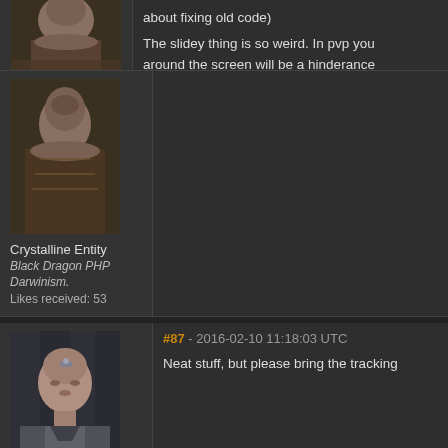[Figure (photo): Partial view of a character avatar from a sci-fi game, cropped at top]
about fixing old code)

The slidey thing is so weird. In pvp you around the screen will be a hinderance
Crystalline Entity
Black Dragon PHP Darwinism.
Likes received: 53
[Figure (photo): Character avatar of a bald male with cybernetic implant on forehead]
#87 - 2016-02-10 11:18:03 UTC
Neat stuff, but please bring the tracking
Ashlar Vellum
Esquire Armaments
Likes received: 463
[Figure (photo): Partial view of another character avatar at bottom]
#88 - 2016-02-10 12:34:32 UTC